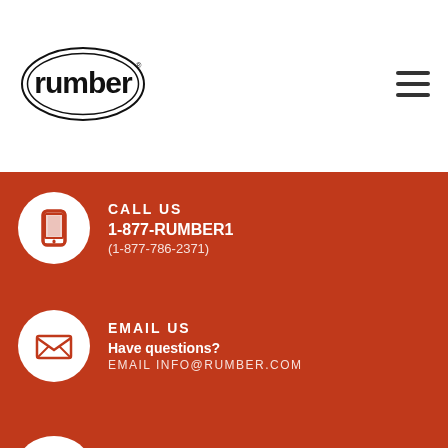[Figure (logo): Rumber logo — oval double-border with 'rumber' text inside]
[Figure (other): Hamburger menu icon (three horizontal lines)]
CALL US
1-877-RUMBER1
(1-877-786-2371)
EMAIL US
Have questions?
EMAIL INFO@RUMBER.COM
GET A QUOTE